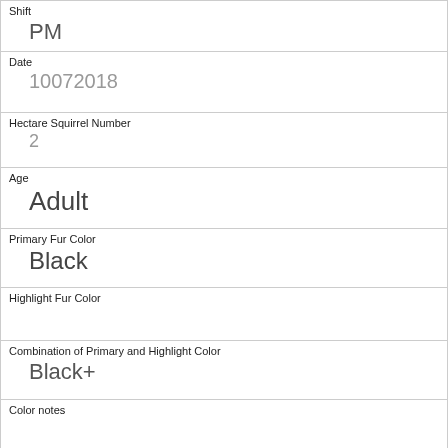| Shift | PM |
| Date | 10072018 |
| Hectare Squirrel Number | 2 |
| Age | Adult |
| Primary Fur Color | Black |
| Highlight Fur Color |  |
| Combination of Primary and Highlight Color | Black+ |
| Color notes |  |
| Location | Above Ground |
| Above Ground Sighter Measurement | 25 |
| Specific Location |  |